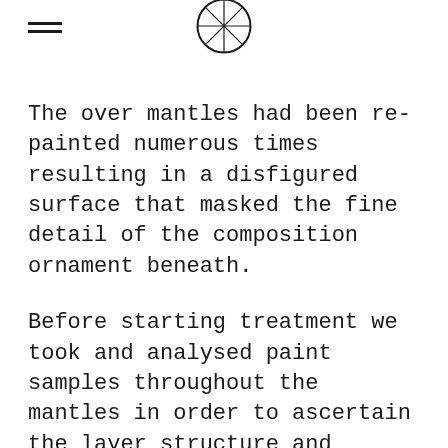The over mantles had been re-painted numerous times resulting in a disfigured surface that masked the fine detail of the composition ornament beneath.
Before starting treatment we took and analysed paint samples throughout the mantles in order to ascertain the layer structure and binding media present. The results were fascinating, disclosing up to 20 layers of modern and historic paint and revealing the presence of an original gilded scheme.
Due to the materials used in the